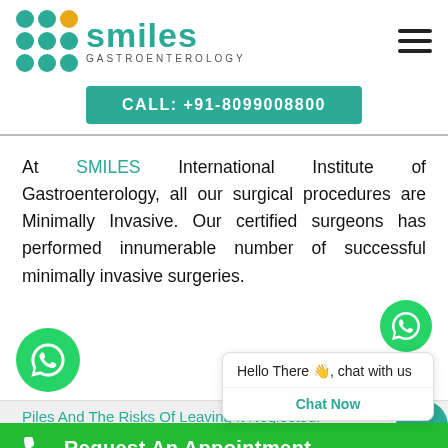[Figure (logo): Smiles Gastroenterology logo with teal and gold dot grid and teal text]
CALL: +91-8099008800
At SMILES International Institute of Gastroenterology, all our surgical procedures are Minimally Invasive. Our certified surgeons has performed innumerable number of successful minimally invasive surgeries.
Hello There 👋, chat with us
Chat Now
Piles And The Risks Of Leaving It Neglected.
Request An Appointment